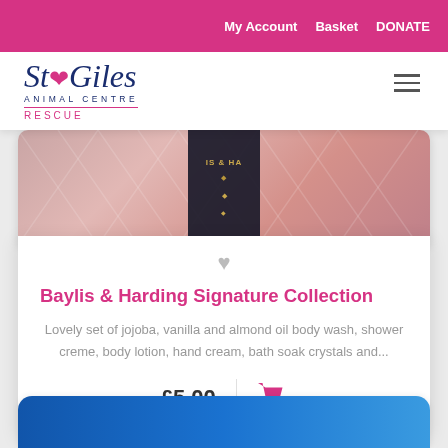My Account   Basket   DONATE
[Figure (logo): St Giles Animal Centre Rescue logo with paw print and italic text]
[Figure (photo): Close-up photo of Baylis & Harding Signature Collection product packaging in pink/rose color with decorative pattern and dark label band]
Baylis & Harding Signature Collection
Lovely set of jojoba, vanilla and almond oil body wash, shower creme, body lotion, hand cream, bath soak crystals and...
£5.00